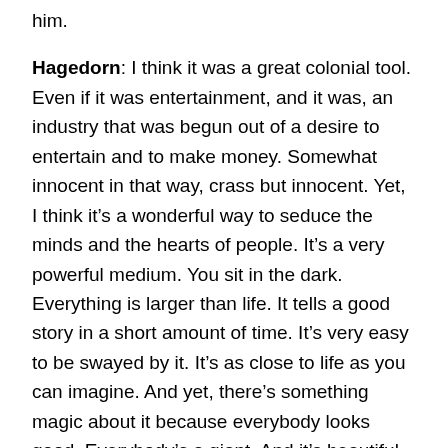him.
Hagedorn: I think it was a great colonial tool. Even if it was entertainment, and it was, an industry that was begun out of a desire to entertain and to make money. Somewhat innocent in that way, crass but innocent. Yet, I think it’s a wonderful way to seduce the minds and the hearts of people. It’s a very powerful medium. You sit in the dark. Everything is larger than life. It tells a good story in a short amount of time. It’s very easy to be swayed by it. It’s as close to life as you can imagine. And yet, there’s something magic about it because everybody looks good. Everybody’s a giant. And it’s beautiful or it’s hyper whatever-itis. It’s hyper-ugly, hyper-violent, hyper-beautiful.